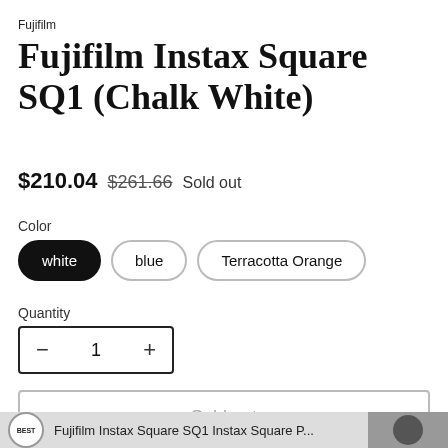Fujifilm
Fujifilm Instax Square SQ1 (Chalk White)
$210.04  $261.66  Sold out
Color
white
blue
Terracotta Orange
Quantity
— 1 +
Sold out
BEST  Fujifilm Instax Square SQ1 Instax Square P...